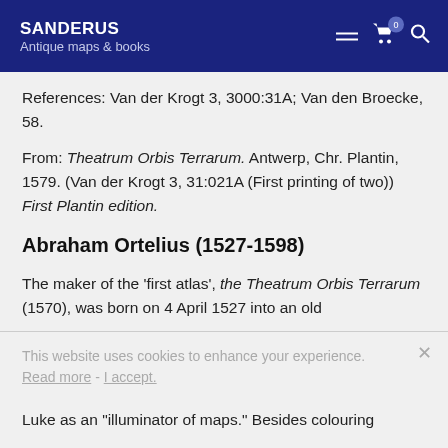SANDERUS Antique maps & books
References: Van der Krogt 3, 3000:31A; Van den Broecke, 58.
From: Theatrum Orbis Terrarum. Antwerp, Chr. Plantin, 1579. (Van der Krogt 3, 31:021A (First printing of two)) First Plantin edition.
Abraham Ortelius (1527-1598)
The maker of the 'first atlas', the Theatrum Orbis Terrarum (1570), was born on 4 April 1527 into an old
Luke as an "illuminator of maps." Besides colouring